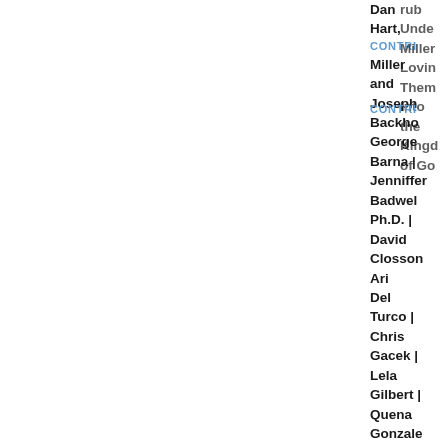Dan Hart
Miller
CONTRIBUTORS
and Joseph
Backhol
George
Barna |
Jenniffer
Badwel Ph.D. |
David Closson
ARCH
Ari Del Turco |
Chris Gacek |
Lela Gilbert |
Quena Gonzale
Laura
Loving Them Into the Kingdom of Go
Select